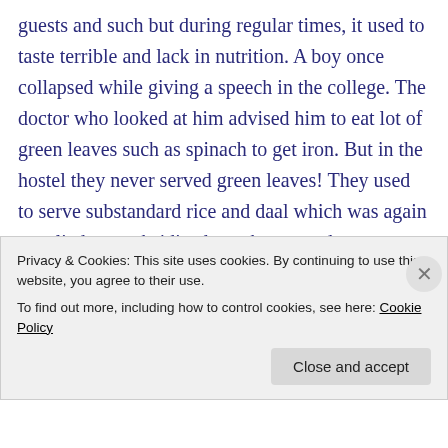guests and such but during regular times, it used to taste terrible and lack in nutrition. A boy once collapsed while giving a speech in the college. The doctor who looked at him advised him to eat lot of green leaves such as spinach to get iron. But in the hostel they never served green leaves! They used to serve substandard rice and daal which was again supplied at a subsidized cost by some devotee or the other. When I was new, I had an Oliver Twist movement where I asked for an extra portion and was refused! And if anyone showed up late for breakfast, lunch or dinner, the lecturer in charge of the dining room would close the door
Privacy & Cookies: This site uses cookies. By continuing to use this website, you agree to their use.
To find out more, including how to control cookies, see here: Cookie Policy
Close and accept